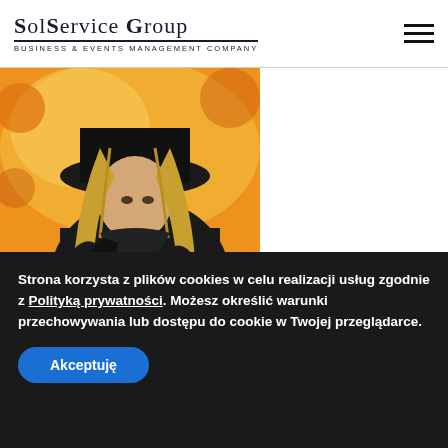SolService Group - Business & Events Management Company
[Figure (illustration): Anime-style illustration of a figure with long blonde hair wearing a dark hat and coat, against an orange/yellow background]
Strona korzysta z plików cookies w celu realizacji usług zgodnie z Polityką prywatności. Możesz określić warunki przechowywania lub dostępu do cookie w Twojej przeglądarce.
Akceptuję